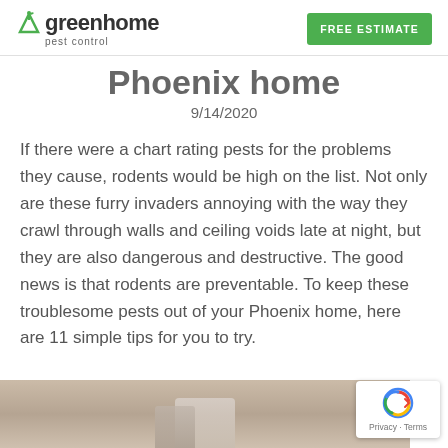greenhome pest control | FREE ESTIMATE
Phoenix home
9/14/2020
If there were a chart rating pests for the problems they cause, rodents would be high on the list. Not only are these furry invaders annoying with the way they crawl through walls and ceiling voids late at night, but they are also dangerous and destructive. The good news is that rodents are preventable. To keep these troublesome pests out of your Phoenix home, here are 11 simple tips for you to try.
[Figure (photo): Bottom portion of an interior photo, likely showing a countertop or home interior setting with neutral/beige tones]